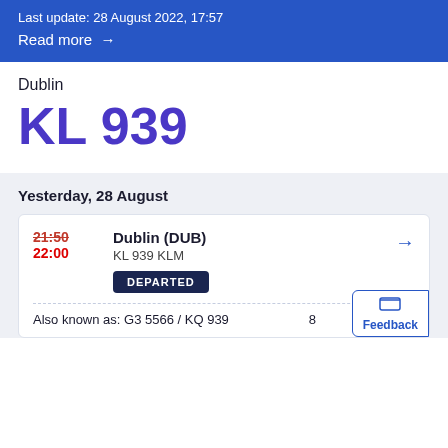Last update: 28 August 2022, 17:57
Read more →
Dublin
KL 939
Yesterday, 28 August
| Time | Destination |  |
| --- | --- | --- |
| 21:50 / 22:00 | Dublin (DUB)
KL 939 KLM | → |
|  | DEPARTED |  |
Also known as: G3 5566 / KQ 939...8